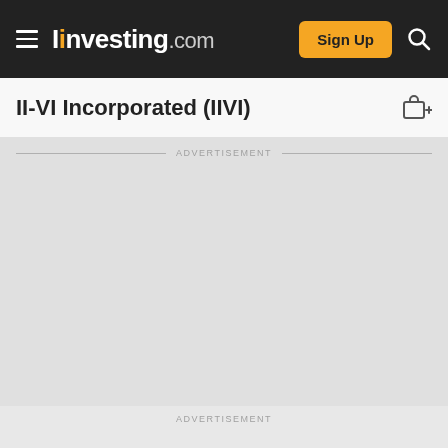Investing.com — Sign Up
II-VI Incorporated (IIVI)
ADVERTISEMENT
ADVERTISEMENT